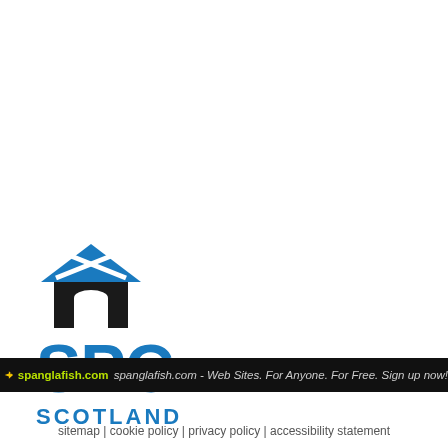[Figure (logo): SPC Scotland logo: house icon with Scottish saltire cross on roof, bold blue SPC text, and SCOTLAND text below]
spanglafish.com spanglafish.com - Web Sites. For Anyone. For Free. Sign up now!
sitemap | cookie policy | privacy policy | accessibility statement